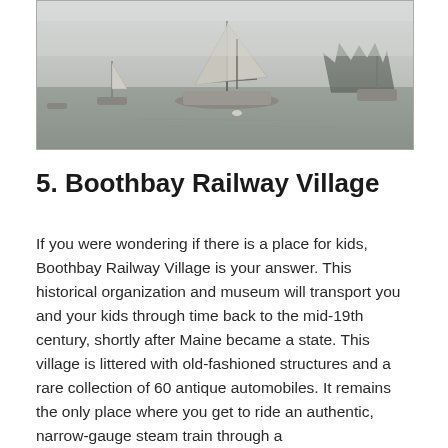[Figure (photo): Sailboats moored on a foggy harbor with tree silhouettes in the background, misty grey atmosphere over calm water]
5. Boothbay Railway Village
If you were wondering if there is a place for kids, Boothbay Railway Village is your answer. This historical organization and museum will transport you and your kids through time back to the mid-19th century, shortly after Maine became a state. This village is littered with old-fashioned structures and a rare collection of 60 antique automobiles. It remains the only place where you get to ride an authentic, narrow-gauge steam train through a